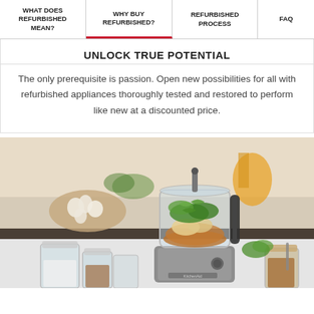WHAT DOES REFURBISHED MEAN? | WHY BUY REFURBISHED? | REFURBISHED PROCESS | FAQ
UNLOCK TRUE POTENTIAL
The only prerequisite is passion. Open new possibilities for all with refurbished appliances thoroughly tested and restored to perform like new at a discounted price.
[Figure (photo): A KitchenAid food processor on a kitchen counter surrounded by glass jars of ingredients including herbs, spices, and other food items. The food processor bowl contains fresh herbs, sliced ingredients including what appears to be meat and vegetables. Background shows a blurred kitchen setting with garlic, cutting board, and orange items.]